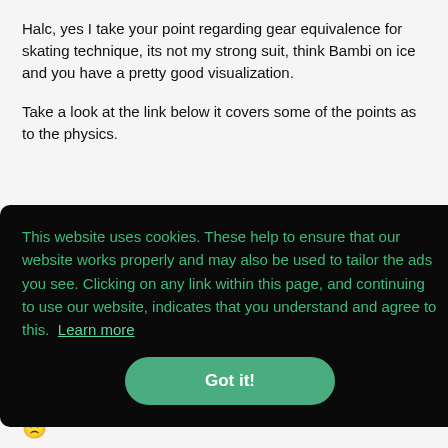Halc, yes I take your point regarding gear equivalence for skating technique, its not my strong suit, think Bambi on ice and you have a pretty good visualization.
Take a look at the link below it covers some of the points as to the physics.
This website uses cookies. These help to ensure that our website works properly and may also be used to tailor the ads you see. Clicking on any link within this page, and continuing to use our website, indicates that you understand and agree to this.  Learn more
Got it!